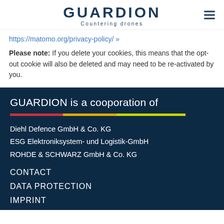GUARDION Countering drones
https://matomo.org/privacy-policy/ »
Please note: If you delete your cookies, this means that the opt-out cookie will also be deleted and may need to be re-activated by you.
GUARDION is a cooporation of
Diehl Defence GmbH & Co. KG
ESG Elektroniksystem- und Logistik-GmbH
ROHDE & SCHWARZ GmbH & Co. KG
CONTACT
DATA PROTECTION
IMPRINT